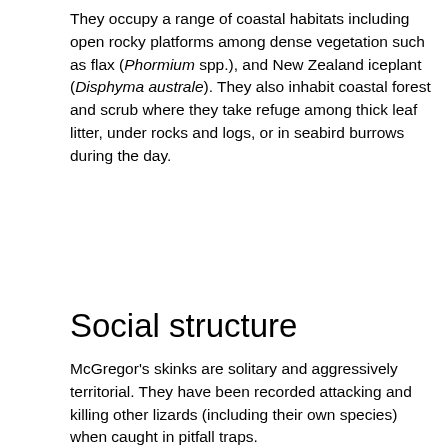They occupy a range of coastal habitats including open rocky platforms among dense vegetation such as flax (Phormium spp.), and New Zealand iceplant (Disphyma australe). They also inhabit coastal forest and scrub where they take refuge among thick leaf litter, under rocks and logs, or in seabird burrows during the day.
Social structure
McGregor's skinks are solitary and aggressively territorial. They have been recorded attacking and killing other lizards (including their own species) when caught in pitfall traps.
Breeding biology
McGregor's skink are ovoviviparous, giving birth to litters of up to seven in late summer to early autumn (D. Keall, personal communication, May 22, 2021).
Diet